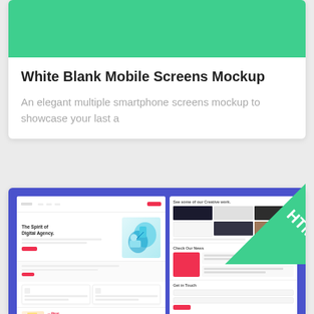[Figure (screenshot): Green teal colored header/banner area at top of a card]
White Blank Mobile Screens Mockup
An elegant multiple smartphone screens mockup to showcase your last a
[Figure (screenshot): Screenshot of a digital agency website mockup shown inside a purple/blue card with an HTML badge in the top-right corner. The mockup shows a web layout with hero section 'The Spirit of Digital Agency', features, about section, portfolio grid, news section, and contact section.]